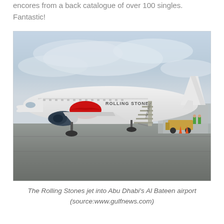encores from a back catalogue of over 100 singles. Fantastic!
[Figure (photo): A white Boeing jet aircraft with the Rolling Stones iconic lips-and-tongue logo on the fuselage, parked on a tarmac with boarding stairs attached on the right side. Airport workers in yellow vests visible in background. Overcast sky.]
The Rolling Stones jet into Abu Dhabi's Al Bateen airport (source:www.gulfnews.com)